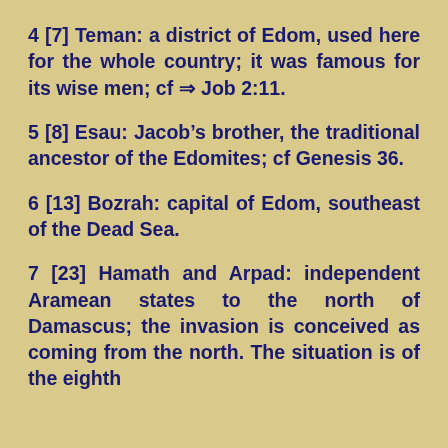4 [7] Teman: a district of Edom, used here for the whole country; it was famous for its wise men; cf ⇒ Job 2:11.
5 [8] Esau: Jacob's brother, the traditional ancestor of the Edomites; cf Genesis 36.
6 [13] Bozrah: capital of Edom, southeast of the Dead Sea.
7 [23] Hamath and Arpad: independent Aramean states to the north of Damascus; the invasion is conceived as coming from the north. The situation is of the eighth